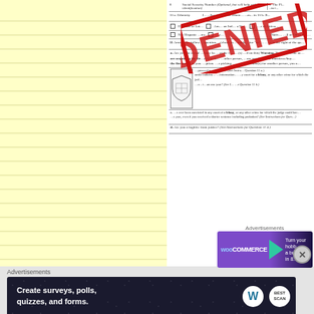[Figure (screenshot): A US government ATF Form 4473 (Firearms Transaction Record) with a large red DENIED stamp overlaid diagonally across the form. The form shows sections for Social Security Number, Ethnicity (Hispanic or Latino, Not Hispanic), and questions 11a-11d about criminal background. A shield/crest logo is visible on the left side of the form.]
The National Instant Criminal Background Check System (N... Brady Handgun Violence Prevention Act of 1993, and was la... November 30, 1998. The NICS is used by FFLs to check the... purchase firearms.
[Figure (screenshot): WooCommerce advertisement banner: purple/dark background with teal triangle, text 'Turn your hobb... a business in 8...']
Advertisements
[Figure (screenshot): Advertisement banner: dark navy background with white text 'Create surveys, polls, quizzes, and forms.' with WordPress and Best Scan logos.]